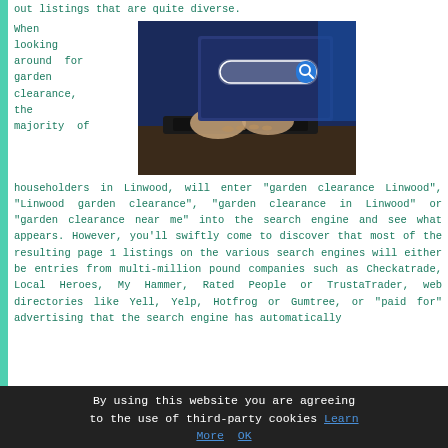out listings that are quite diverse.
When looking around for garden clearance, the majority of
[Figure (photo): Person typing on a laptop with a digital search bar overlay featuring a magnifying glass icon on a blue background]
householders in Linwood, will enter "garden clearance Linwood", "Linwood garden clearance", "garden clearance in Linwood" or "garden clearance near me" into the search engine and see what appears. However, you'll swiftly come to discover that most of the resulting page 1 listings on the various search engines will either be entries from multi-million pound companies such as Checkatrade, Local Heroes, My Hammer, Rated People or TrustaTrader, web directories like Yell, Yelp, Hotfrog or Gumtree, or "paid for" advertising that the search engine has automatically
By using this website you are agreeing to the use of third-party cookies Learn More OK